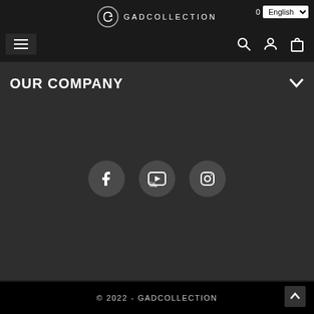GADCOLLECTION
OUR COMPANY
[Figure (screenshot): Three social media icon circles: Facebook (f), YouTube, Instagram]
© 2022 - GADCOLLECTION